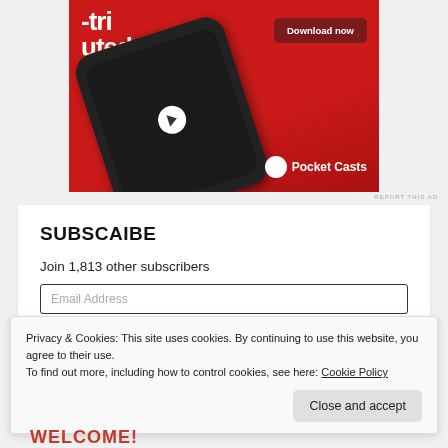[Figure (screenshot): Pocket Casts app advertisement on red background with a smartphone showing the app interface and a 'Download now' button. Pocket Casts logo at bottom right.]
REPORT THIS AD
SUBSCAIBE
Join 1,813 other subscribers
Email Address
Privacy & Cookies: This site uses cookies. By continuing to use this website, you agree to their use.
To find out more, including how to control cookies, see here: Cookie Policy
WELCOME!